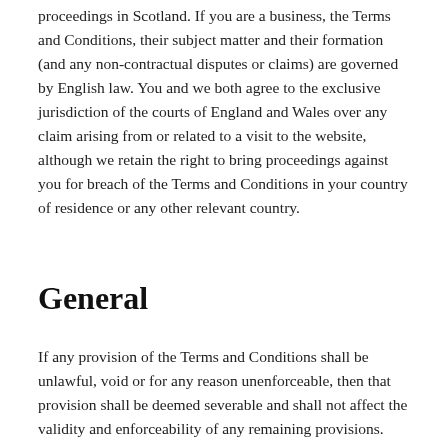proceedings in Scotland. If you are a business, the Terms and Conditions, their subject matter and their formation (and any non-contractual disputes or claims) are governed by English law. You and we both agree to the exclusive jurisdiction of the courts of England and Wales over any claim arising from or related to a visit to the website, although we retain the right to bring proceedings against you for breach of the Terms and Conditions in your country of residence or any other relevant country.
General
If any provision of the Terms and Conditions shall be unlawful, void or for any reason unenforceable, then that provision shall be deemed severable and shall not affect the validity and enforceability of any remaining provisions. The Terms and Conditions